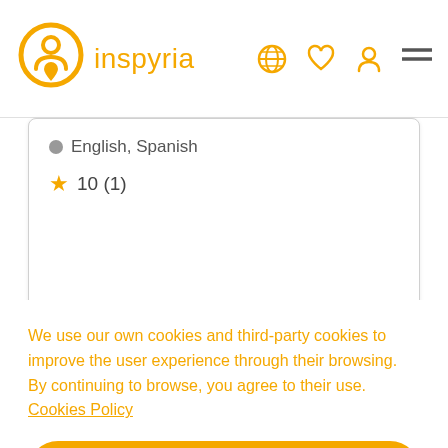inspyria
English, Spanish
10 (1)
Add  View more
We use our own cookies and third-party cookies to improve the user experience through their browsing. By continuing to browse, you agree to their use. Cookies Policy
I ACCEPT THE COOKIES POLICY